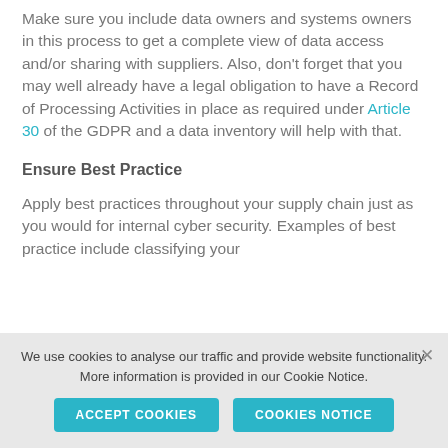Make sure you include data owners and systems owners in this process to get a complete view of data access and/or sharing with suppliers. Also, don't forget that you may well already have a legal obligation to have a Record of Processing Activities in place as required under Article 30 of the GDPR and a data inventory will help with that.
Ensure Best Practice
Apply best practices throughout your supply chain just as you would for internal cyber security. Examples of best practice include classifying your
We use cookies to analyse our traffic and provide website functionality. More information is provided in our Cookie Notice.